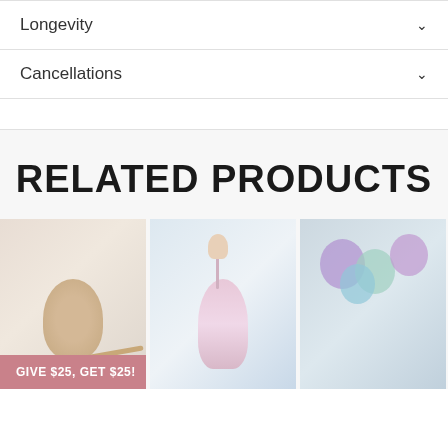Longevity
Cancellations
RELATED PRODUCTS
[Figure (photo): Three product photos in a row showing party/celebration items. First image shows a child with a headband. Second shows a unicorn-themed item. Third shows purple and mint balloons. A pink promotional banner reads 'GIVE $25, GET $25!' overlaid on the first image.]
GIVE $25, GET $25!